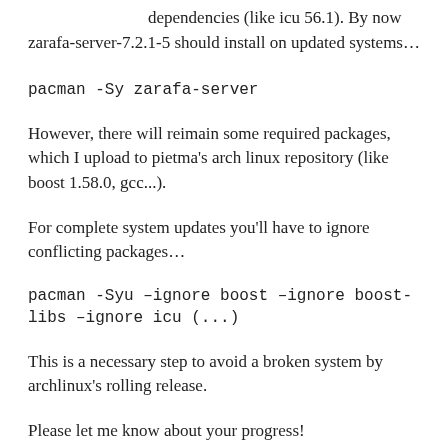dependencies (like icu 56.1). By now zarafa-server-7.2.1-5 should install on updated systems...
pacman -Sy zarafa-server
However, there will reimain some required packages, which I upload to pietma's arch linux repository (like boost 1.58.0, gcc...).
For complete system updates you'll have to ignore conflicting packages...
pacman -Syu –ignore boost –ignore boost-libs –ignore icu (...)
This is a necessary step to avoid a broken system by archlinux's rolling release.
Please let me know about your progress!